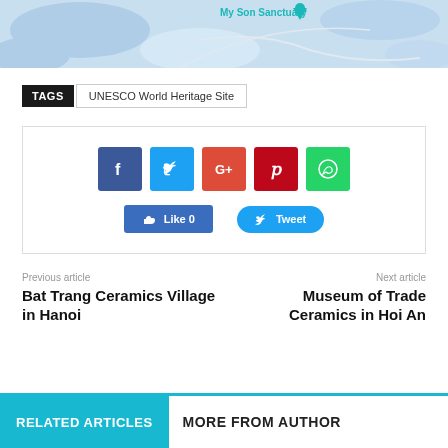[Figure (map): Partial map showing My Son Sanctuary location with teal pin marker]
TAGS   UNESCO World Heritage Site
[Figure (screenshot): Social share buttons: Facebook, Twitter, Google+, Pinterest, WhatsApp icons, plus Like 0 and Tweet action buttons]
Previous article
Bat Trang Ceramics Village in Hanoi
Next article
Museum of Trade Ceramics in Hoi An
RELATED ARTICLES   MORE FROM AUTHOR